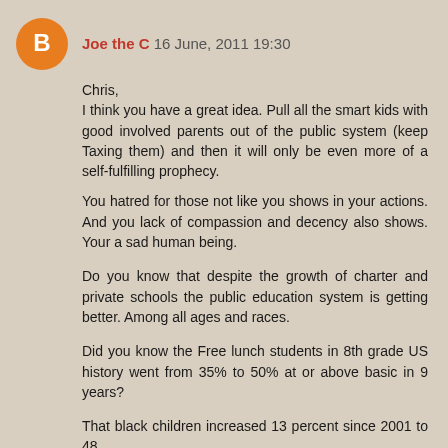Joe the C  16 June, 2011 19:30

Chris,
I think you have a great idea. Pull all the smart kids with good involved parents out of the public system (keep Taxing them) and then it will only be even more of a self-fulfilling prophecy.

You hatred for those not like you shows in your actions. And you lack of compassion and decency also shows. Your a sad human being.

Do you know that despite the growth of charter and private schools the public education system is getting better. Among all ages and races.

Did you know the Free lunch students in 8th grade US history went from 35% to 50% at or above basic in 9 years?

That black children increased 13 percent since 2001 to 48 percent in 8th grade history.